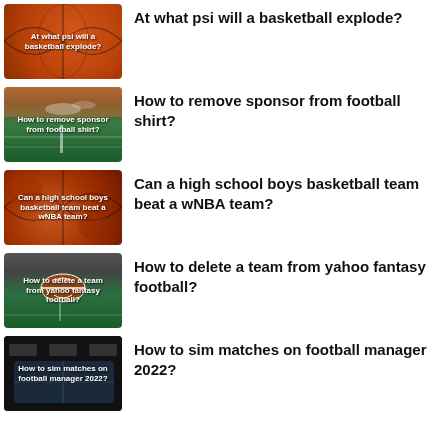[Figure (photo): Thumbnail image of basketballs with text overlay: At what psi will a basketball explode?]
At what psi will a basketball explode?
[Figure (photo): Thumbnail image of football field at dusk with text overlay: How to remove sponsor from football shirt?]
How to remove sponsor from football shirt?
[Figure (photo): Thumbnail image of basketballs with text overlay: Can a high school boys basketball team beat a wNBA team?]
Can a high school boys basketball team beat a wNBA team?
[Figure (photo): Thumbnail image of football on grass field with text overlay: How to delete a team from yahoo fantasy football?]
How to delete a team from yahoo fantasy football?
[Figure (photo): Thumbnail image of football manager 2022 game with text overlay: How to sim matches on football manager 2022?]
How to sim matches on football manager 2022?